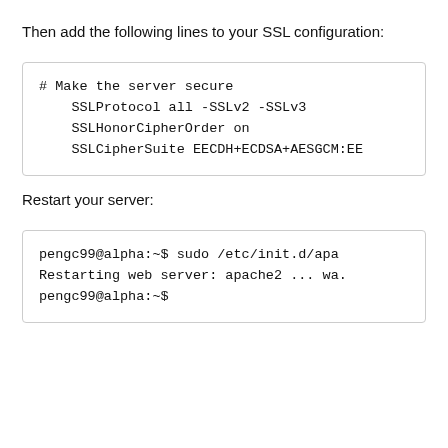Then add the following lines to your SSL configuration:
# Make the server secure
    SSLProtocol all -SSLv2 -SSLv3
    SSLHonorCipherOrder on
    SSLCipherSuite EECDH+ECDSA+AESGCM:EE
Restart your server:
pengc99@alpha:~$ sudo /etc/init.d/apa
Restarting web server: apache2 ... wa.
pengc99@alpha:~$